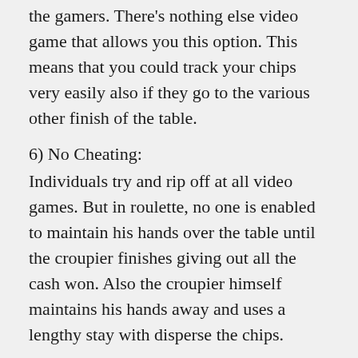the gamers. There’s nothing else video game that allows you this option. This means that you could track your chips very easily also if they go to the various other finish of the table.
6) No Cheating:
Individuals try and rip off at all video games. But in roulette, no one is enabled to maintain his hands over the table until the croupier finishes giving out all the cash won. Also the croupier himself maintains his hands away and uses a lengthy stay with disperse the chips.
Final thought:
From all the various video games, these